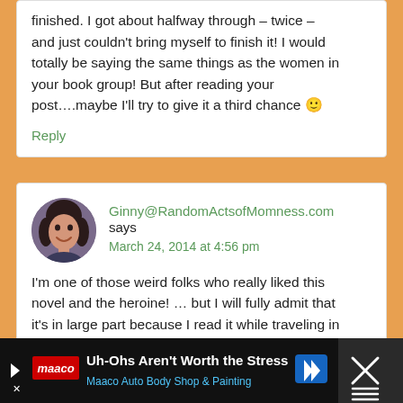finished. I got about halfway through – twice – and just couldn't bring myself to finish it! I would totally be saying the same things as the women in your book group! But after reading your post….maybe I'll try to give it a third chance 🙂
Reply
Ginny@RandomActsofMomness.com says
March 24, 2014 at 4:56 pm
I'm one of those weird folks who really liked this novel and the heroine! … but I will fully admit that it's in large part because I read it while traveling in
[Figure (screenshot): Advertisement bar at bottom: Maaco Auto Body Shop & Painting ad with text 'Uh-Ohs Aren't Worth the Stress' and blue arrow logo, on dark background with close button (X) on right]